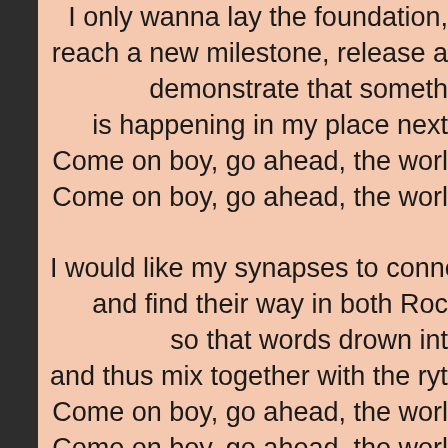I only wanna lay the foundation,
reach a new milestone, release a
demonstrate that someth
is happening in my place next
Come on boy, go ahead, the worl
Come on boy, go ahead, the worl

I would like my synapses to connec
and find their way in both Roc
so that words drown int
and thus mix together with the rythr
Come on boy, go ahead, the worl
Come on boy, go ahead, the worl
[Figure (other): A button with an upward-pointing red arrow on a gradient gray background with rounded rectangle border]
[Figure (photo): Partial view of a golden/yellow image at the bottom of the page]